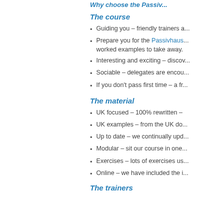Why choose the Passivhaus...
The course
Guiding you – friendly trainers a...
Prepare you for the Passivhaus... worked examples to take away.
Interesting and exciting – discov...
Sociable – delegates are encou...
If you don't pass first time – a fr...
The material
UK focused – 100% rewritten –
UK examples – from the UK do...
Up to date – we continually upd...
Modular – sit our course in one...
Exercises – lots of exercises us...
Online – we have included the i...
The trainers